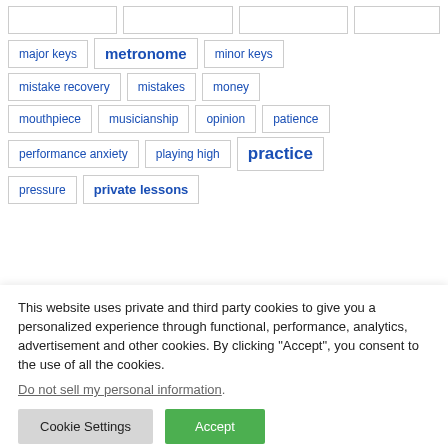major keys
metronome
minor keys
mistake recovery
mistakes
money
mouthpiece
musicianship
opinion
patience
performance anxiety
playing high
practice
pressure
private lessons
This website uses private and third party cookies to give you a personalized experience through functional, performance, analytics, advertisement and other cookies. By clicking “Accept”, you consent to the use of all the cookies.
Do not sell my personal information.
Cookie Settings
Accept